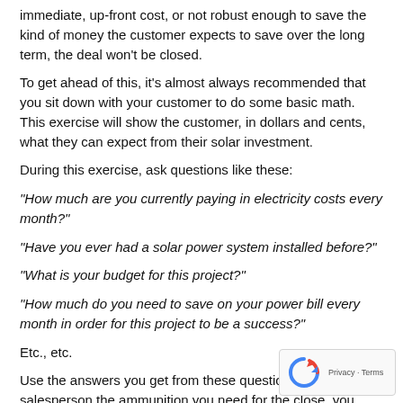immediate, up-front cost, or not robust enough to save the kind of money the customer expects to save over the long term, the deal won't be closed.
To get ahead of this, it's almost always recommended that you sit down with your customer to do some basic math. This exercise will show the customer, in dollars and cents, what they can expect from their solar investment.
During this exercise, ask questions like these:
“How much are you currently paying in electricity costs every month?”
“Have you ever had a solar power system installed before?”
“What is your budget for this project?”
“How much do you need to save on your power bill every month in order for this project to be a success?”
Etc., etc.
Use the answers you get from these questions to give yo the salesperson the ammunition you need for the close. you present a full-scale solar power generation system solution